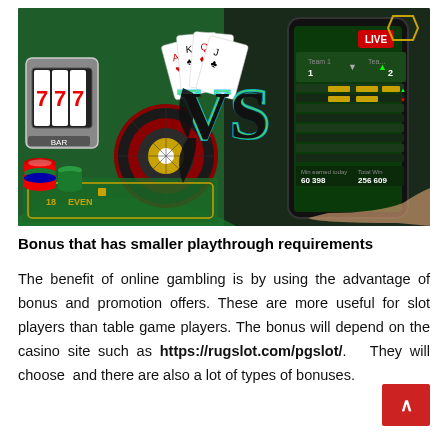[Figure (photo): Composite image showing casino elements on the left (slot machine showing 777, playing cards, roulette wheel, poker chips, green casino table) versus a smartphone showing a live sports betting app on the right, with a large neon 'VS' text in the middle.]
Bonus that has smaller playthrough requirements
The benefit of online gambling is by using the advantage of bonus and promotion offers. These are more useful for slot players than table game players. The bonus will depend on the casino site such as https://rugslot.com/pgslot/. They will choose and there are also a lot of types of bonuses.